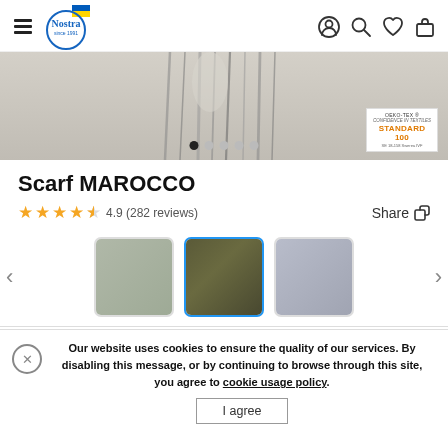Nostra since 1991 — navigation header with hamburger menu, logo, and icons (user, search, heart, bag)
[Figure (photo): Product banner image showing brushes/combs in grayscale with OEKO-TEX STANDARD 100 badge and carousel dots]
Scarf MAROCCO
4.9 (282 reviews)   Share
[Figure (photo): Three color swatches for the scarf: light green-gray, olive/dark green (selected, highlighted with blue border), and blue-gray. Navigation arrows on sides.]
Our website uses cookies to ensure the quality of our services. By disabling this message, or by continuing to browse through this site, you agree to cookie usage policy.
I agree